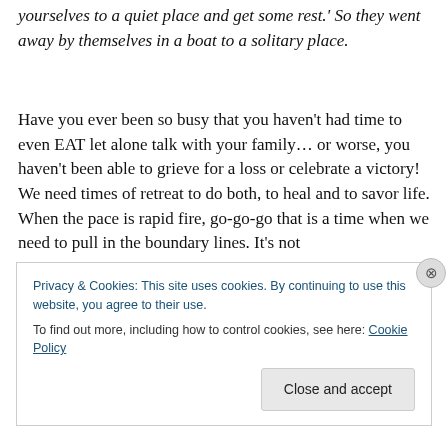yourselves to a quiet place and get some rest.' So they went away by themselves in a boat to a solitary place.
Have you ever been so busy that you haven't had time to even EAT let alone talk with your family… or worse, you haven't been able to grieve for a loss or celebrate a victory!  We need times of retreat to do both, to heal and to savor life.  When the pace is rapid fire, go-go-go that is a time when we need to pull in the boundary lines.  It's not
Privacy & Cookies: This site uses cookies. By continuing to use this website, you agree to their use.
To find out more, including how to control cookies, see here: Cookie Policy
Close and accept